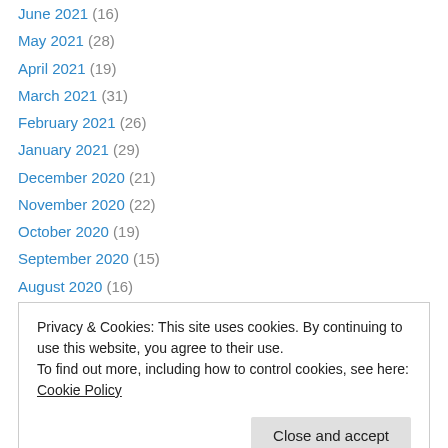June 2021 (16)
May 2021 (28)
April 2021 (19)
March 2021 (31)
February 2021 (26)
January 2021 (29)
December 2020 (21)
November 2020 (22)
October 2020 (19)
September 2020 (15)
August 2020 (16)
July 2020 (16)
June 2020 (9)
Privacy & Cookies: This site uses cookies. By continuing to use this website, you agree to their use. To find out more, including how to control cookies, see here: Cookie Policy
September 2019 (23)